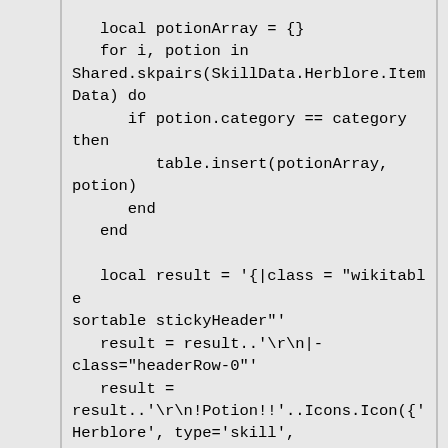local potionArray = {}
   for i, potion in
Shared.skpairs(SkillData.Herblore.Item
Data) do
      if potion.category == category
then
         table.insert(potionArray,
potion)
      end
   end

   local result = '{|class = "wikitable
sortable stickyHeader"'
   result = result..'
|-
class="headerRow-0"'
   result =
result..'
!Potion!!'..Icons.Icon({'
Herblore', type='skill',
notext=true})..' Level'
   result =